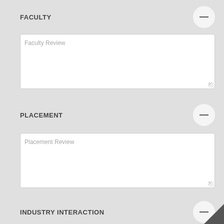FACULTY
Faculty Review
PLACEMENT
Placement Review
INDUSTRY INTERACTION
Industry Interaction Review